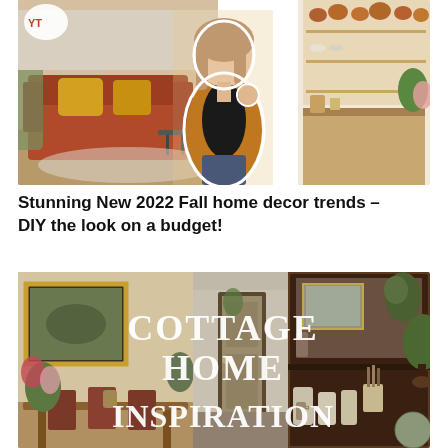[Figure (photo): A collage showing a woman in a mustard cardigan standing in front of a rust-colored couch with yellow pillows on the left, and a bright kitchen with copper pots and wooden shelving on the right. A speech bubble/logo is visible in the top left corner.]
Stunning New 2022 Fall home decor trends – DIY the look on a budget!
[Figure (photo): A collage of cottage-style home interior photos including a dining room with a vintage painting and florals on the left, a central hallway with an open door, and a dark wood shelving unit with decorative objects on the right. White serif text overlaid reads COTTAGE HOME INSPIRATION.]